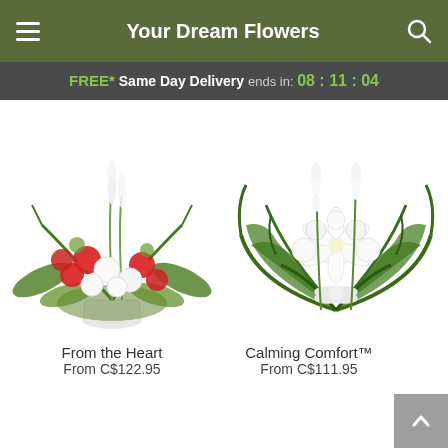Your Dream Flowers
FREE* Same Day Delivery ends in: 08 : 11 : 04
[Figure (photo): Floral arrangement 'From the Heart' - red and white flowers with greenery in a white vase]
From the Heart
From C$122.95
[Figure (photo): Floral arrangement 'Calming Comfort TM' - white lilies and chrysanthemums with green palm leaves and a white bow]
Calming Comfort™
From C$111.95